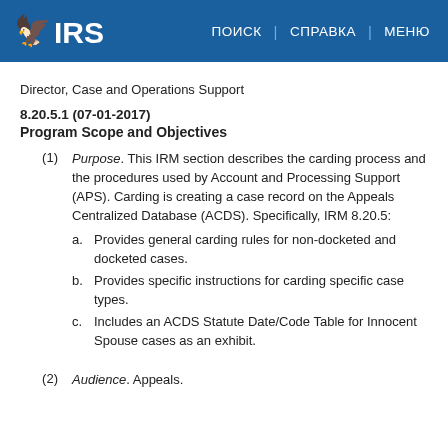IRS | ПОИСК | СПРАВКА | МЕНЮ
Director, Case and Operations Support
8.20.5.1 (07-01-2017)
Program Scope and Objectives
(1) Purpose. This IRM section describes the carding process and the procedures used by Account and Processing Support (APS). Carding is creating a case record on the Appeals Centralized Database (ACDS). Specifically, IRM 8.20.5:
a. Provides general carding rules for non-docketed and docketed cases.
b. Provides specific instructions for carding specific case types.
c. Includes an ACDS Statute Date/Code Table for Innocent Spouse cases as an exhibit.
(2) Audience. Appeals.